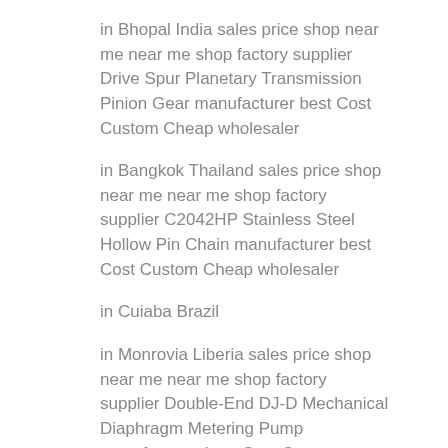in Bhopal India sales price shop near me near me shop factory supplier Drive Spur Planetary Transmission Pinion Gear manufacturer best Cost Custom Cheap wholesaler
in Bangkok Thailand sales price shop near me near me shop factory supplier C2042HP Stainless Steel Hollow Pin Chain manufacturer best Cost Custom Cheap wholesaler
in Cuiaba Brazil
in Monrovia Liberia sales price shop near me near me shop factory supplier Double-End DJ-D Mechanical Diaphragm Metering Pump manufacturer best Cost Custom Cheap wholesaler
in Lahore Pakistan sales price shop near me near me shop factory supplier Fiber Laser Cutting Machine for Sale manufacturer best Cost Custom Cheap wholesaler